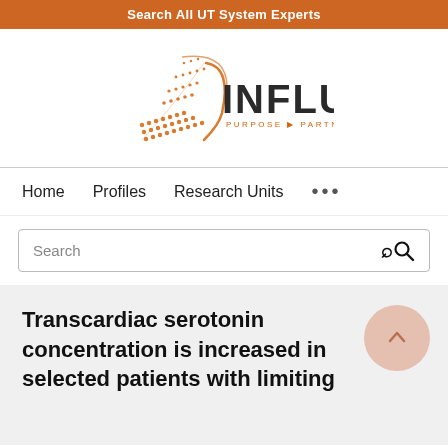Search All UT System Experts
[Figure (logo): Influuent logo with orange geometric triangular/dot motif and text INFLUUENT PURPOSE PARTNERSHIP PROGRESS]
Home   Profiles   Research Units   ...
Search
Transcardiac serotonin concentration is increased in selected patients with limiting